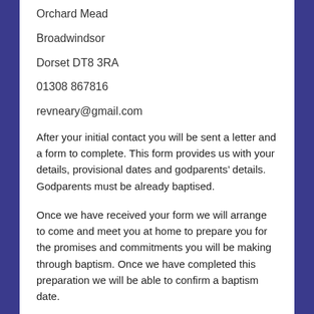Orchard Mead
Broadwindsor
Dorset DT8 3RA
01308 867816
revneary@gmail.com
After your initial contact you will be sent a letter and a form to complete. This form provides us with your details, provisional dates and godparents’ details. Godparents must be already baptised.
Once we have received your form we will arrange to come and meet you at home to prepare you for the promises and commitments you will be making through baptism. Once we have completed this preparation we will be able to confirm a baptism date.